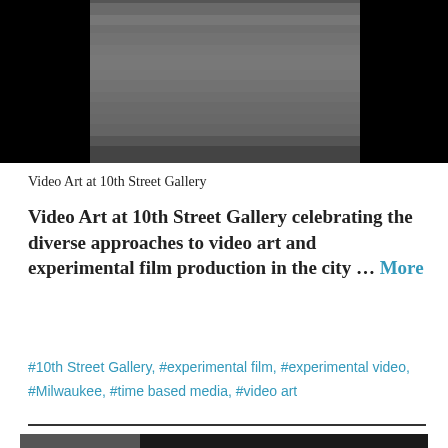[Figure (photo): Grayscale video thumbnail showing horizontal banded gray tones with black edges on left and right, representing a still from a video art piece.]
Video Art at 10th Street Gallery
Video Art at 10th Street Gallery celebrating the diverse approaches to video art and experimental film production in the city … More
#10th Street Gallery, #experimental film, #experimental video, #Milwaukee, #time based media, #video art
[Figure (photo): Partial bottom image, dark tones, cropped at page edge.]